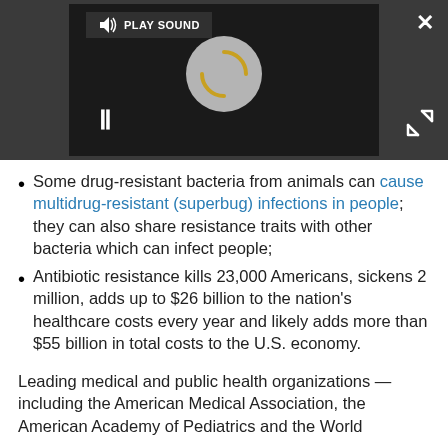[Figure (screenshot): Video player with dark background showing a loading spinner circle, pause button (two vertical bars), PLAY SOUND button in top bar, close (X) button top right, and expand arrows bottom right.]
Some drug-resistant bacteria from animals can cause multidrug-resistant (superbug) infections in people; they can also share resistance traits with other bacteria which can infect people;
Antibiotic resistance kills 23,000 Americans, sickens 2 million, adds up to $26 billion to the nation's healthcare costs every year and likely adds more than $55 billion in total costs to the U.S. economy.
Leading medical and public health organizations — including the American Medical Association, the American Academy of Pediatrics and the World